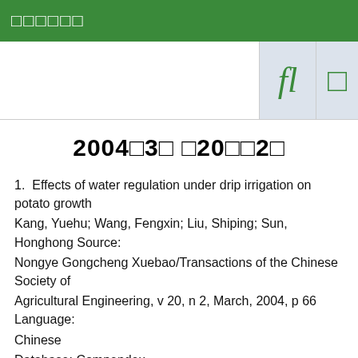□□□□□□
2004□3□ □20□□2□
1.  Effects of water regulation under drip irrigation on potato growth
Kang, Yuehu; Wang, Fengxin; Liu, Shiping; Sun, Honghong Source: Nongye Gongcheng Xuebao/Transactions of the Chinese Society of Agricultural Engineering, v 20, n 2, March, 2004, p 66 Language: Chinese
Database: Compendex
Abstract  -  Detailed
2.  Well-canal irrigation effects on water conservation in the Yellow River irrigation areas of Ningxia Region
Qin, Dayong; Yu, Fuliang; Li, Mushan Source: Nongye Gongcheng